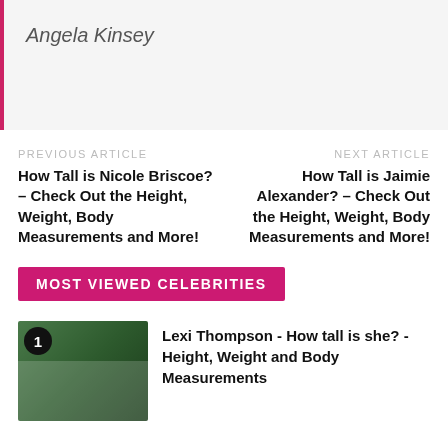Angela Kinsey
PREVIOUS ARTICLE
How Tall is Nicole Briscoe? – Check Out the Height, Weight, Body Measurements and More!
NEXT ARTICLE
How Tall is Jaimie Alexander? – Check Out the Height, Weight, Body Measurements and More!
MOST VIEWED CELEBRITIES
Lexi Thompson - How tall is she? - Height, Weight and Body Measurements